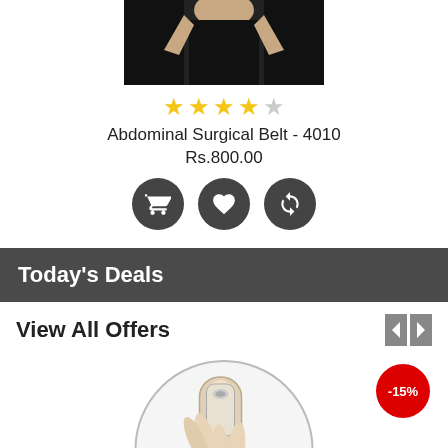[Figure (photo): Product photo of Abdominal Surgical Belt worn by a person wearing black, cropped to show torso area]
[Figure (other): Star rating showing 3.5 out of 5 stars (4 filled, 1 empty)]
Abdominal Surgical Belt - 4010
Rs.800.00
[Figure (infographic): Three dark circular action buttons: add to cart (cart icon), wishlist (heart icon), compare (refresh/compare icon)]
Today's Deals
View All Offers
[Figure (photo): Circular product image showing a hand holding a small white medical device, with a -15% discount badge in top right corner]